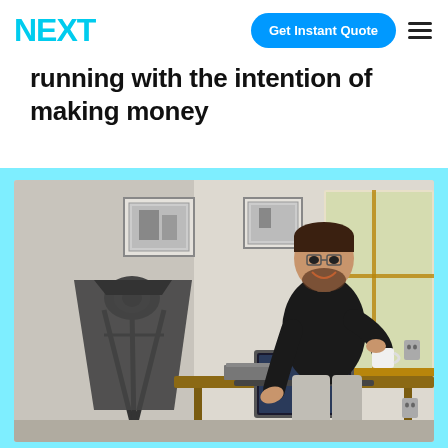NEXT | Get Instant Quote
running with the intention of making money
[Figure (photo): Man in black shirt leaning over a desk with a laptop, smiling and holding a coffee mug, with camera equipment on a tripod and framed photos on the wall in the background.]